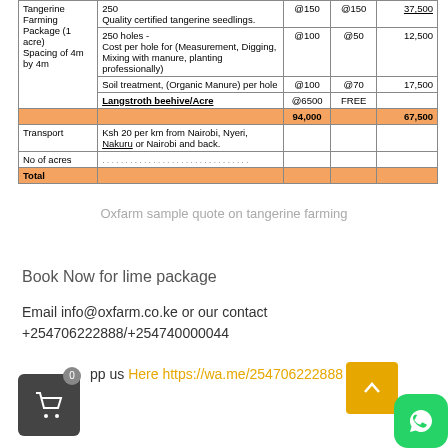|  | Description | @ | @ | Amount |
| --- | --- | --- | --- | --- |
| Tangerine Farming Package (1 acre) Spacing of 4m by 4m | 250
Quality certified tangerine seedlings. | @150 | @150 | 37,500 |
|  | 250 holes -
Cost per hole for (Measurement, Digging, Mixing with manure, planting professionally) | @100 | @50 | 12,500 |
|  | Soil treatment, (Organic Manure) per hole | @100 | @70 | 17,500 |
|  | Langstroth beehive/Acre | @6500 | FREE |  |
|  |  | 94,000 |  | 67,500 |
| Transport | Ksh 20 per km from Nairobi, Nyeri, Nakuru or Nairobi and back. |  |  |  |
| No of acres | ................................ |  |  |  |
| Total |  |  |  |  |
Oxfarm sample quote on tangerine farming
Book Now for lime package
Email info@oxfarm.co.ke or our contact +254706222888/+254740000044
Whatsapp us Here https://wa.me/254706222888